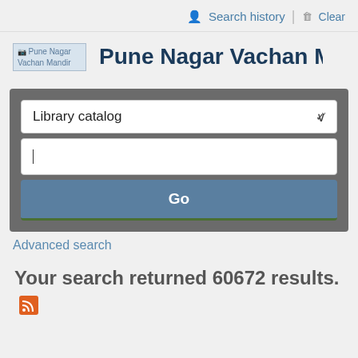Search history  Clear
Pune Nagar Vachan M
[Figure (logo): Pune Nagar Vachan Mandir logo placeholder image]
[Figure (screenshot): Library catalog search form with dropdown 'Library catalog', text input with cursor, and Go button]
Advanced search
Your search returned 60672 results.